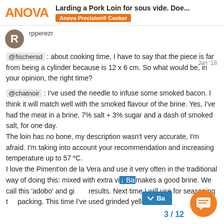Larding a Pork Loin for sous vide. Doe... | Anova Precision® Cooker
rpperezr   Jan '18
@fischersd : about cooking time, I have to say that the piece is far from being a cylinder because is 12 x 6 cm. So what would be, in your opinion, the right time?
@chatnoir : I've used the needle to infuse some smoked bacon. I think it will match well with the smoked flavour of the brine. Yes, I've had the meat in a brine, 7% salt + 3% sugar and a dash of smoked salt, for one day. The loin has no bone, my description wasn't very accurate, I'm afraid. I'm taking into account your recommendation and increasing temperature up to 57 ºC. I love the Piment'on de la Vera and use it very often in the traditional way of doing this: mixed with extra vi... makes a good brine. We call this 'adobo' and gi... results. Next time I will use for seasoning t... packing. This time I've used grinded yellow...